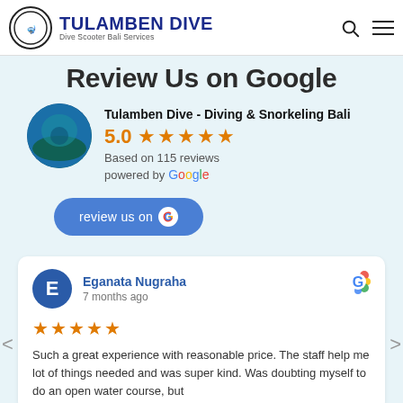TULAMBEN DIVE — Dive Scooter Bali Services
Review Us on Google
Tulamben Dive - Diving & Snorkeling Bali
5.0 ★★★★★
Based on 115 reviews
powered by Google
review us on G
Eganata Nugraha
7 months ago
★★★★★
Such a great experience with reasonable price. The staff help me lot of things needed and was super kind. Was doubting myself to do an open water course, but